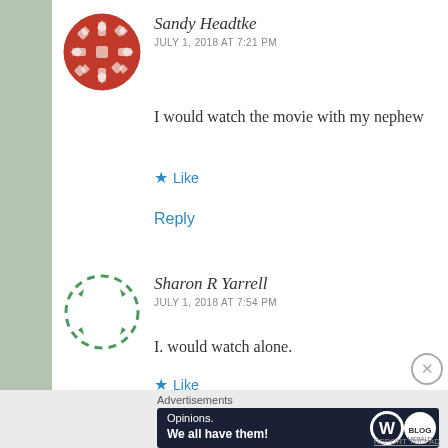Sandy Headtke
JULY 1, 2018 AT 7:21 PM
I would watch the movie with my nephew
Like
Reply
Sharon R Yarrell
JULY 1, 2018 AT 7:54 PM
I. would watch alone.
Like
Advertisements
[Figure (screenshot): WordPress ad banner: 'Opinions. We all have them!' with WordPress and another logo on dark background]